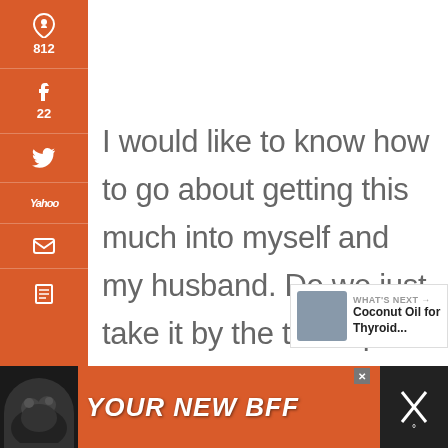[Figure (screenshot): Sidebar with social share buttons: Pinterest (812), Facebook (22), Twitter, Yahoo, Email, Print icons on orange background]
I would like to know how to go about getting this much into myself and my husband. Do we just take it by the tablespoon full?
Reply
834 SHARES
[Figure (infographic): Heart/like button (teal circle) with count 836, and share button below]
[Figure (screenshot): WHAT'S NEXT banner: Coconut Oil for Thyroid...]
[Figure (infographic): Ad bar: dog image, YOUR NEW BFF text on orange background]